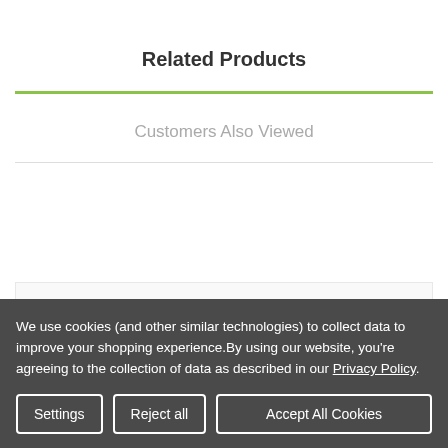Related Products
Customers Also Viewed
[Figure (other): White product card placeholder box]
We use cookies (and other similar technologies) to collect data to improve your shopping experience.By using our website, you're agreeing to the collection of data as described in our Privacy Policy.
Settings | Reject all | Accept All Cookies